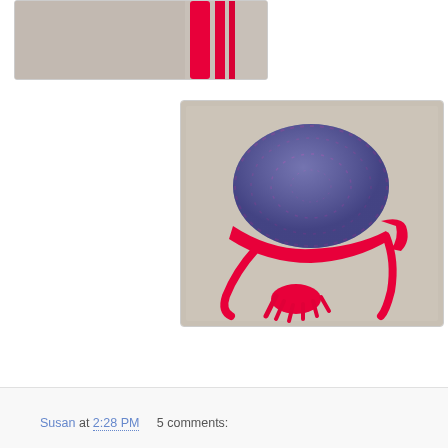[Figure (photo): Partial view of a crocheted item with red yarn on a grey background, cropped at top of page]
[Figure (photo): A crocheted bonnet/earflap hat with grey/purple and pink speckled main body, bright red border trim, and long red braided ties ending in a tassel, laid flat on a carpet surface]
Susan at 2:28 PM    5 comments: